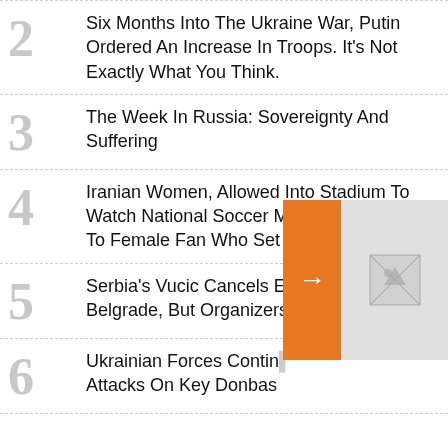2 Six Months Into The Ukraine War, Putin Ordered An Increase In Troops. It's Not Exactly What You Think.
3 The Week In Russia: Sovereignty And Suffering
4 Iranian Women, Allowed Into Stadium To Watch National Soccer Match, Pay Tribute To Female Fan Who Set Herself On Fire
5 Serbia's Vucic Cancels EuroPride Event In Belgrade, But Organizers Vow To Push On
6 Ukrainian Forces Contin... Attacks On Key Donbas
UN Te... Ukrain... Nuclea... Radiat...